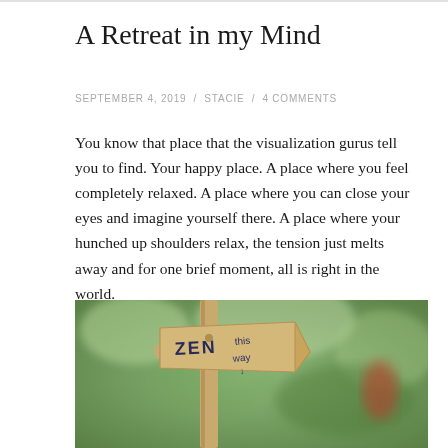A Retreat in my Mind
SEPTEMBER 4, 2019 / STACIE / 4 COMMENTS
You know that place that the visualization gurus tell you to find. Your happy place. A place where you feel completely relaxed. A place where you can close your eyes and imagine yourself there. A place where your hunched up shoulders relax, the tension just melts away and for one brief moment, all is right in the world.
[Figure (photo): A wooden signpost with a hand-painted arrow sign reading 'ZEN this way' with a green blurred forest background and a red blurred figure in the background.]